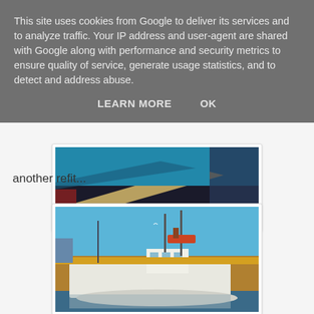This site uses cookies from Google to deliver its services and to analyze traffic. Your IP address and user-agent are shared with Google along with performance and security metrics to ensure quality of service, generate usage statistics, and to detect and address abuse.
LEARN MORE    OK
[Figure (photo): Partial view of a boat hull with metallic and dark elements, shot from close up, with blue and teal tones.]
another refit...
[Figure (photo): A tugboat or fishing vessel in a dry dock or harbor, with a white hull, industrial equipment, cranes and masts visible, blue sky background.]